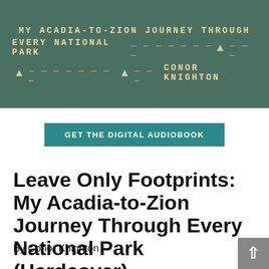[Figure (illustration): Book cover for 'Leave Only Footprints: My Acadia-to-Zion Journey Through Every National Park' by Conor Knighton. Dark green background with cream/gold text in monospace font, dotted lines and small tree/pine icons as decorative elements.]
GET THE DIGITAL AUDIOBOOK
Leave Only Footprints: My Acadia-to-Zion Journey Through Every National Park (Hardcover)
By Conor Knighton